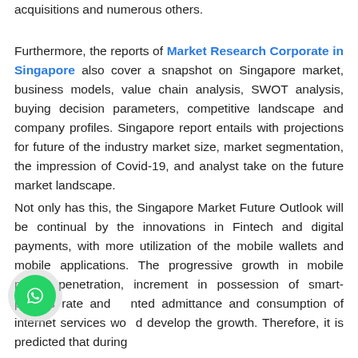acquisitions and numerous others.
Furthermore, the reports of Market Research Corporate in Singapore also cover a snapshot on Singapore market, business models, value chain analysis, SWOT analysis, buying decision parameters, competitive landscape and company profiles. Singapore report entails with projections for future of the industry market size, market segmentation, the impression of Covid-19, and analyst take on the future market landscape.
Not only has this, the Singapore Market Future Outlook will be continual by the innovations in Fintech and digital payments, with more utilization of the mobile wallets and mobile applications. The progressive growth in mobile phone penetration, increment in possession of smart-phones rate and ented admittance and consumption of internet services would develop the growth. Therefore, it is predicted that during